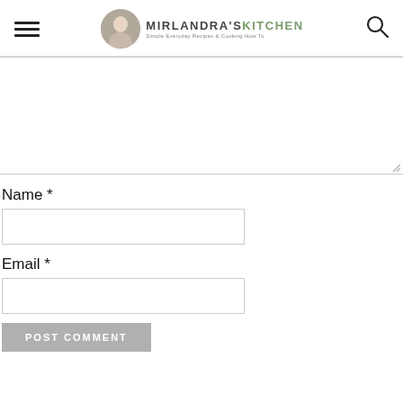MIRLANDRA'S KITCHEN - Simple Everyday Recipes & Cooking How To
(comment textarea)
Name *
Email *
POST COMMENT